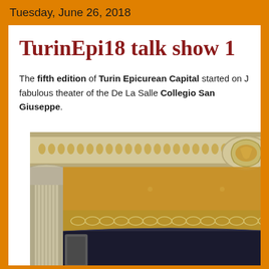Tuesday, June 26, 2018
TurinEpi18 talk show 1
The fifth edition of Turin Epicurean Capital started on J fabulous theater of the De La Salle Collegio San Giuseppe.
[Figure (photo): Interior photograph of the ornate De La Salle Collegio San Giuseppe theater, showing decorative architectural details including carved columns, gilded moldings, ornamental friezes with floral and geometric patterns, and a stage opening.]